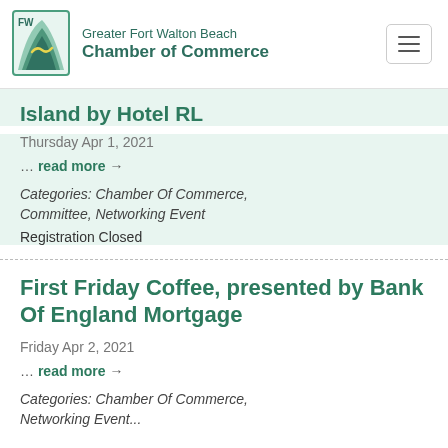Greater Fort Walton Beach Chamber of Commerce
Island by Hotel RL
Thursday Apr 1, 2021
... read more →
Categories: Chamber Of Commerce, Committee, Networking Event
Registration Closed
First Friday Coffee, presented by Bank Of England Mortgage
Friday Apr 2, 2021
... read more →
Categories: Chamber Of Commerce, Networking Event...